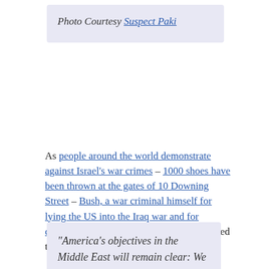Photo Courtesy Suspect Paki
As people around the world demonstrate against Israel’s war crimes – 1000 shoes have been thrown at the gates of 10 Downing Street – Bush, a war criminal himself for lying the US into the Iraq war and for condoning torture is as usual Israeli occupied territory in his last days in power :
“America’s objectives in the Middle East will remain clear: We seek